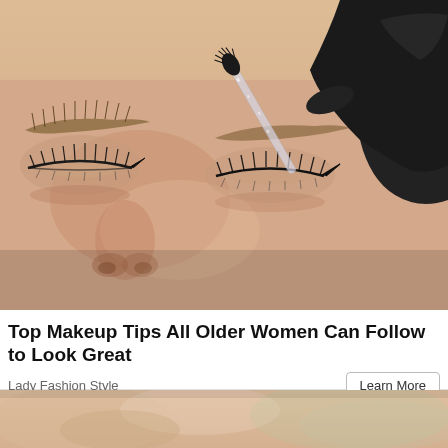[Figure (photo): Close-up photo of a woman with eyes closed receiving eyebrow grooming. A gloved hand in a black latex glove holds a spoolie/mascara wand brush against the woman's eyebrow. The woman has defined eye makeup including winged eyeliner and long lashes. Her skin tone is light and she has blonde hair visible on the right.]
Top Makeup Tips All Older Women Can Follow to Look Great
Lady Fashion Style
[Figure (photo): Partial bottom photo showing a close-up of a woman's face, partially cropped, with soft lighting and blurred background.]